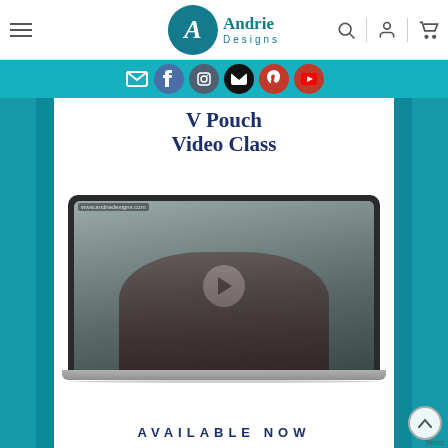Andrie Designs — navigation bar with logo, hamburger menu, search, account, and cart icons
[Figure (screenshot): Andrie Designs website screenshot showing V Pouch Video Class page with teal social media icon bar, bold serif title 'V Pouch Video Class', a laptop displaying a video with a woman sewing, and 'AVAILABLE NOW' text at the bottom]
V Pouch Video Class
AVAILABLE NOW